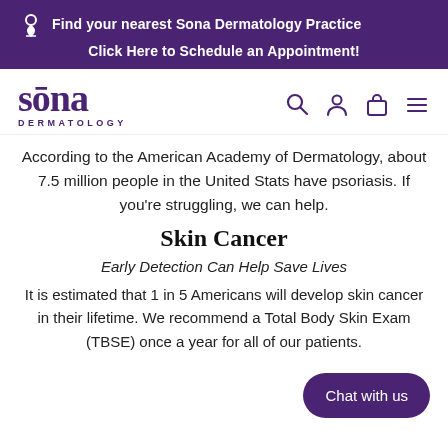Find your nearest Sona Dermatology Practice
Click Here to Schedule an Appointment!
[Figure (logo): Sona Dermatology logo with stylized lowercase text 'sona' and subtitle 'DERMATOLOGY']
According to the American Academy of Dermatology, about 7.5 million people in the United Stats have psoriasis. If you're struggling, we can help.
Skin Cancer
Early Detection Can Help Save Lives
It is estimated that 1 in 5 Americans will develop skin cancer in their lifetime. We recommend a Total Body Skin Exam (TBSE) once a year for all of our patients.